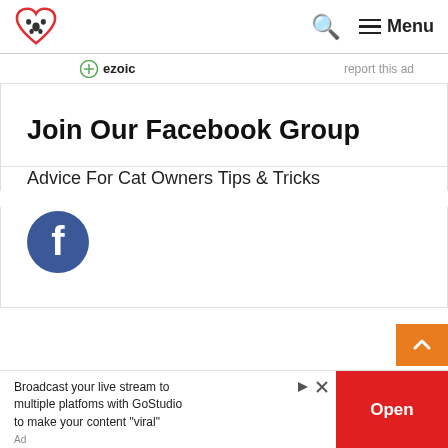Menu
ezoic   report this ad
Join Our Facebook Group
Advice For Cat Owners Tips & Tricks
[Figure (logo): Facebook circular icon in blue]
Broadcast your live stream to multiple platfoms with GoStudio to make your content "viral"
Open